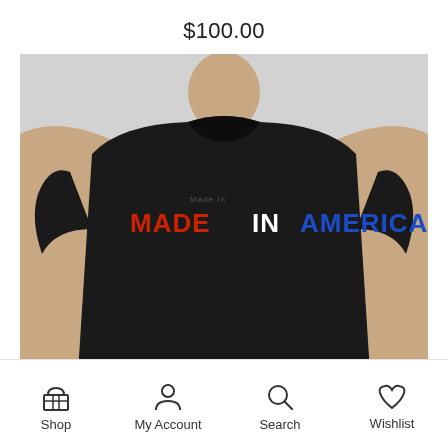$100.00
[Figure (photo): Black t-shirt worn by a person, with text 'MADE IN AMERICA' printed on the chest in red, white, and blue bold letters on a light gray background]
Shop | My Account | Search | Wishlist